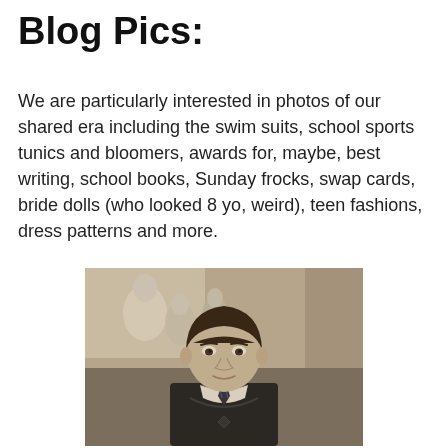Blog Pics:
We are particularly interested in photos of our shared era including the swim suits, school sports tunics and bloomers, awards for, maybe, best writing, school books, Sunday frocks, swap cards, bride dolls (who looked 8 yo, weird), teen fashions, dress patterns and more.
[Figure (photo): Black and white / sepia vintage school photo of a young child with a bowl haircut wearing a school uniform with a V-neck sweater, tie, and white collar. A painting or mural with figures is visible in the background.]